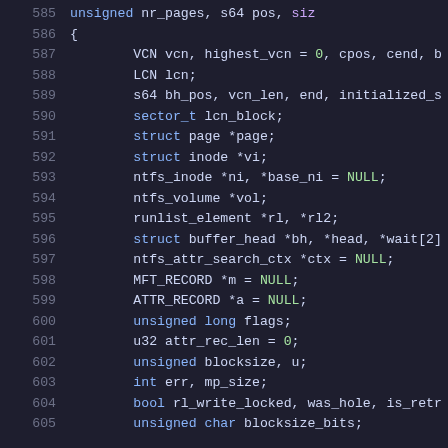[Figure (screenshot): Source code listing lines 585-605 of a C/kernel file showing variable declarations for an NTFS write function, displayed in a dark-themed code editor with syntax highlighting.]